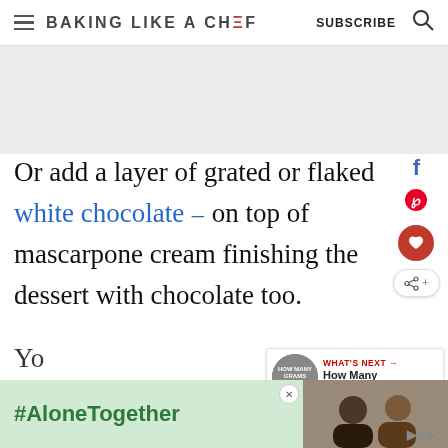BAKING LIKE A CHEF | SUBSCRIBE
[Figure (other): Advertisement placeholder gray box]
Or add a layer of grated or flaked white chocolate ⧉ on top of mascarpone cream finishing the dessert with chocolate too.
[Figure (other): What's Next widget: How Many Grams Is In ...]
[Figure (other): #AloneTogether advertisement banner at bottom with photo of people]